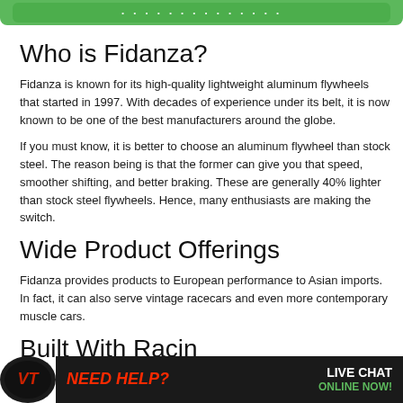[Figure (other): Green rounded banner header at top of page]
Who is Fidanza?
Fidanza is known for its high-quality lightweight aluminum flywheels that started in 1997. With decades of experience under its belt, it is now known to be one of the best manufacturers around the globe.
If you must know, it is better to choose an aluminum flywheel than stock steel. The reason being is that the former can give you that speed, smoother shifting, and better braking. These are generally 40% lighter than stock steel flywheels. Hence, many enthusiasts are making the switch.
Wide Product Offerings
Fidanza provides products to European performance to Asian imports. In fact, it can also serve vintage racecars and even more contemporary muscle cars.
Built With Racin
[Figure (other): Dark bottom bar with circular logo on left and NEED HELP? LIVE CHAT ONLINE NOW! call-to-action on right]